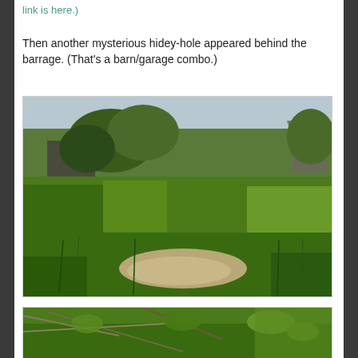link is here.)
Then another mysterious hidey-hole appeared behind the barrage. (That's a barn/garage combo.)
[Figure (photo): Outdoor photo of an overgrown field with tall green grass and weeds, trees in background, and an old barn or garage structure partially visible behind the vegetation. A bare sandy patch of ground is visible in the foreground center.]
[Figure (photo): Close-up photo of tangled branches and leaves in a wooded or brushy area, with green foliage visible in the background.]